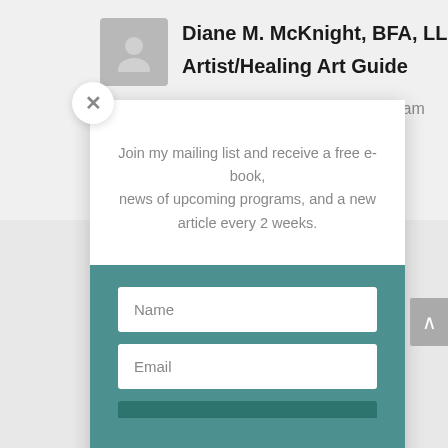Diane M. McKnight, BFA, LLMSW
Artist/Healing Art Guide
on December 17, 2009 at 1:24 am
Join my mailing list and receive a free e-book, news of upcoming programs, and a new article every 2 weeks.
Name
Email
Subscribe